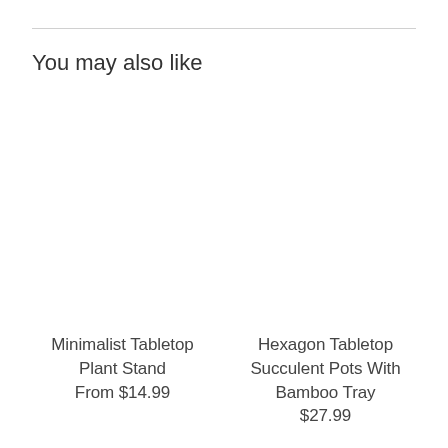You may also like
[Figure (photo): Placeholder image for Minimalist Tabletop Plant Stand product]
Minimalist Tabletop Plant Stand
From $14.99
[Figure (photo): Placeholder image for Hexagon Tabletop Succulent Pots With Bamboo Tray product]
Hexagon Tabletop Succulent Pots With Bamboo Tray
$27.99